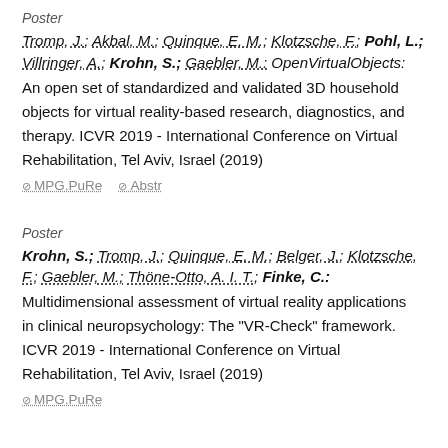Poster
Tromp, J.; Akbal, M.; Quinque, E. M.; Klotzsche, F.; Pohl, L.; Villringer, A.; Krohn, S.; Gaebler, M.: OpenVirtualObjects: An open set of standardized and validated 3D household objects for virtual reality-based research, diagnostics, and therapy. ICVR 2019 - International Conference on Virtual Rehabilitation, Tel Aviv, Israel (2019)
MPG.PuRe   Abstr
Poster
Krohn, S.; Tromp, J.; Quinque, E. M.; Belger, J.; Klotzsche, F.; Gaebler, M.; Thöne-Otto, A. I. T.; Finke, C.: Multidimensional assessment of virtual reality applications in clinical neuropsychology: The "VR-Check" framework. ICVR 2019 - International Conference on Virtual Rehabilitation, Tel Aviv, Israel (2019)
MPG.PuRe